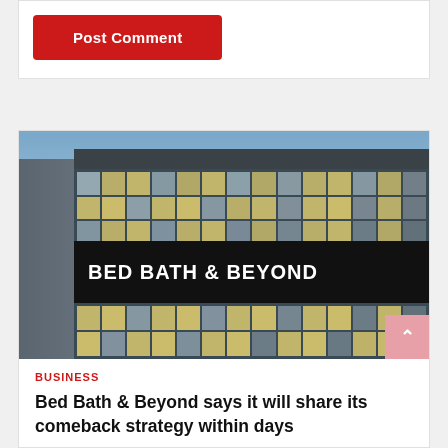[Figure (other): Red 'Post Comment' button on white background card]
[Figure (photo): Exterior photo of a Bed Bath & Beyond retail store building with large glass facade showing the store sign 'BED BATH & BEYOND' at dusk/evening]
BUSINESS
Bed Bath & Beyond says it will share its comeback strategy within days